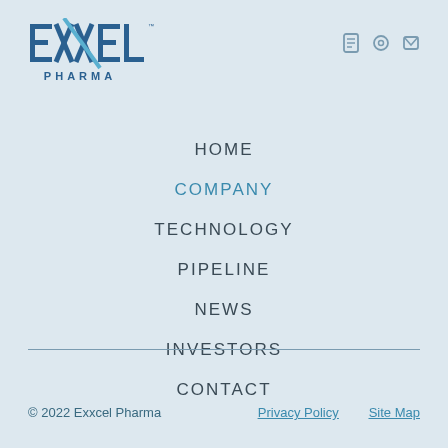[Figure (logo): Exxcel Pharma logo — stylized EXXEL text in blue with an X formed by crossing lines and PHARMA below]
HOME
COMPANY
TECHNOLOGY
PIPELINE
NEWS
INVESTORS
CONTACT
© 2022 Exxcel Pharma    Privacy Policy    Site Map